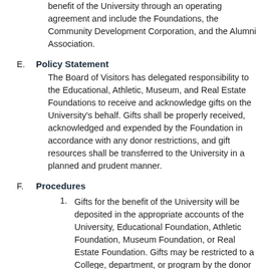benefit of the University through an operating agreement and include the Foundations, the Community Development Corporation, and the Alumni Association.
E. Policy Statement
The Board of Visitors has delegated responsibility to the Educational, Athletic, Museum, and Real Estate Foundations to receive and acknowledge gifts on the University's behalf. Gifts shall be properly received, acknowledged and expended by the Foundation in accordance with any donor restrictions, and gift resources shall be transferred to the University in a planned and prudent manner.
F. Procedures
Gifts for the benefit of the University will be deposited in the appropriate accounts of the University, Educational Foundation, Athletic Foundation, Museum Foundation, or Real Estate Foundation. Gifts may be restricted to a College, department, or program by the donor with the approval of the Vice President for University Advancement or his/her designee.
By February 15 of each year, the Vice President